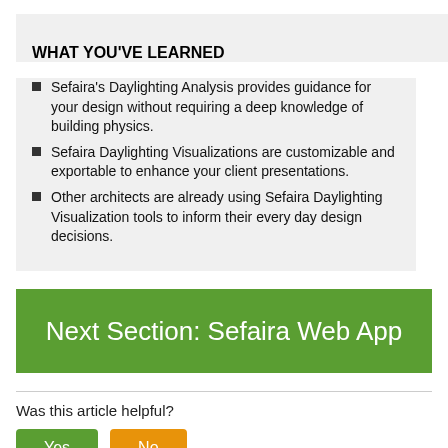WHAT YOU'VE LEARNED
Sefaira's Daylighting Analysis provides guidance for your design without requiring a deep knowledge of building physics.
Sefaira Daylighting Visualizations are customizable and exportable to enhance your client presentations.
Other architects are already using Sefaira Daylighting Visualization tools to inform their every day design decisions.
Next Section: Sefaira Web App
Was this article helpful?
Yes
No
4 out of 5 found this helpful.